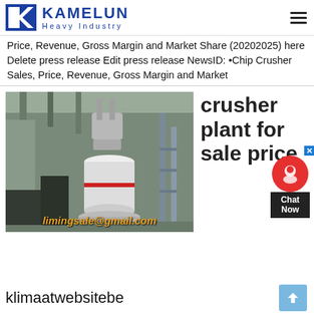[Figure (logo): Kamelun Heavy Industry logo with blue K and text]
Price, Revenue, Gross Margin and Market Share (20202025) here Delete press release Edit press release NewsID: •Chip Crusher Sales, Price, Revenue, Gross Margin and Market
[Figure (photo): Industrial crusher plant machinery inside a factory building with white cylindrical equipment and piping, with email watermark limingsale@gmail.com]
crusher plant for sale price
klimaatwebsitebe